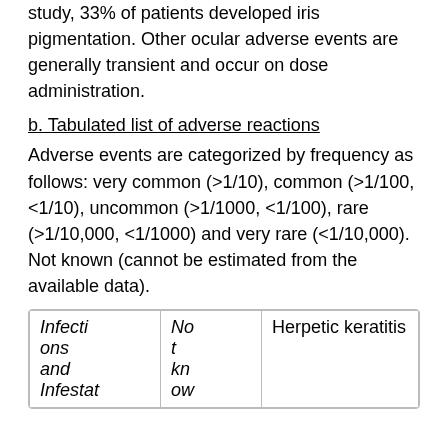study, 33% of patients developed iris pigmentation. Other ocular adverse events are generally transient and occur on dose administration.
b. Tabulated list of adverse reactions
Adverse events are categorized by frequency as follows: very common (>1/10), common (>1/100, <1/10), uncommon (>1/1000, <1/100), rare (>1/10,000, <1/1000) and very rare (<1/10,000). Not known (cannot be estimated from the available data).
|  |  |  |
| --- | --- | --- |
| Infections and Infestat | Not kn ow | Herpetic keratitis |